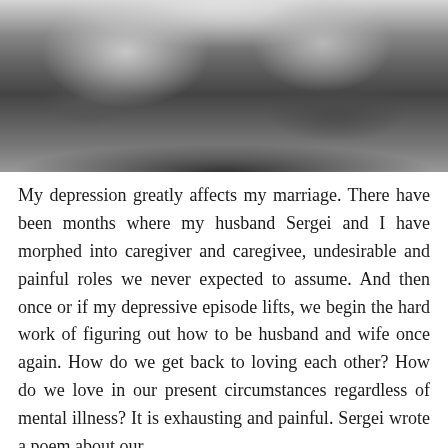[Figure (photo): Black and white portrait photograph of a couple, a woman with dark hair wearing a dark blouse and a man in a short-sleeve button-up shirt, posed together outdoors with foliage in the background.]
My depression greatly affects my marriage. There have been months where my husband Sergei and I have morphed into caregiver and caregivee, undesirable and painful roles we never expected to assume. And then once or if my depressive episode lifts, we begin the hard work of figuring out how to be husband and wife once again. How do we get back to loving each other? How do we love in our present circumstances regardless of mental illness? It is exhausting and painful. Sergei wrote a poem about our